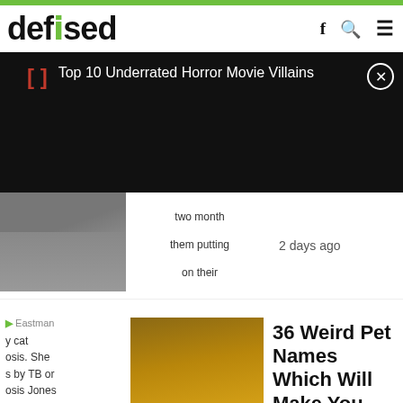[Figure (logo): defused logo in black bold text with green dot over the i]
[Figure (infographic): Notification banner: red bracket icon, white text 'Top 10 Underrated Horror Movie Villains', close X button, black background]
two month them putting on their
2 days ago
[Figure (photo): Person legs/feet on pavement, partially cropped]
Eastman
y cat osis. She s by TB or osis Jones
1,325 Likes
[Figure (photo): Autumn corn field with a white cat lying in front]
36 Weird Pet Names Which Will Make You Chuckle
2 days ago